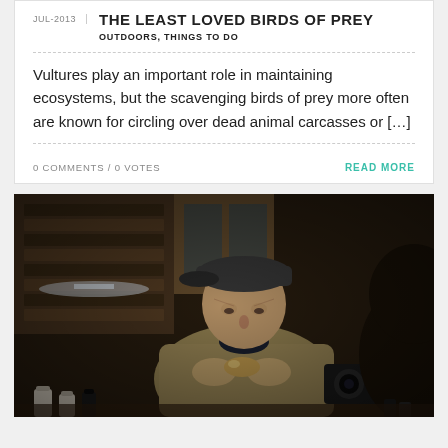JUL-2013
THE LEAST LOVED BIRDS OF PREY
OUTDOORS, THINGS TO DO
Vultures play an important role in maintaining ecosystems, but the scavenging birds of prey more often are known for circling over dead animal carcasses or […]
0 COMMENTS / 0 VOTES
READ MORE
[Figure (photo): An elderly man wearing a khaki jacket and baseball cap holds a small bird or object carefully in his hands at a table, while a person's head is visible in the foreground. Bookshelves and laboratory bottles are visible in the background.]